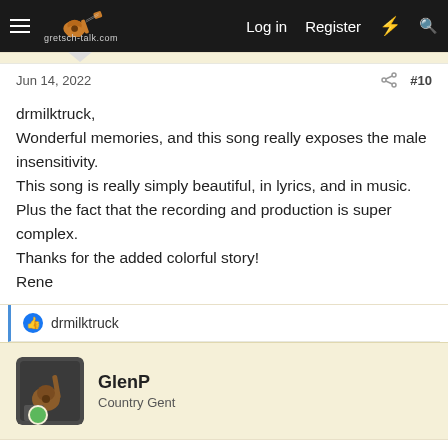gretsch-talk.com | Log in | Register
Jun 14, 2022 | #10
drmilktruck,
Wonderful memories, and this song really exposes the male insensitivity.
This song is really simply beautiful, in lyrics, and in music.
Plus the fact that the recording and production is super complex.
Thanks for the added colorful story!
Rene
👍 drmilktruck
GlenP
Country Gent
Jun 17, 2022 | #11
That was awesome!